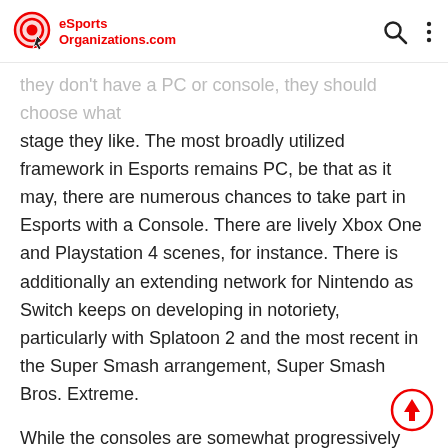eSports Organizations.com
they don't have a PC or console, they should choose what stage they like. The most broadly utilized framework in Esports remains PC, be that as it may, there are numerous chances to take part in Esports with a Console. There are lively Xbox One and Playstation 4 scenes, for instance. There is additionally an extending network for Nintendo as Switch keeps on developing in notoriety, particularly with Splatoon 2 and the most recent in the Super Smash arrangement, Super Smash Bros. Extreme.
While the consoles are somewhat progressively clear, picking a gaming ‘rig’ can be an overwhelming undertaking. Perhaps the greatest choice is whether you are going to purchase or manufacture your apparatus.